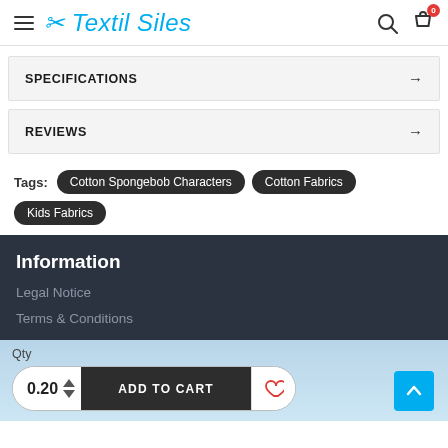Textil Siles
SPECIFICATIONS
REVIEWS
Tags: Cotton Spongebob Characters  Cotton Fabrics  Kids Fabrics
Information
Legal Notice
Terms & Conditions
Qty 0.20  ADD TO CART